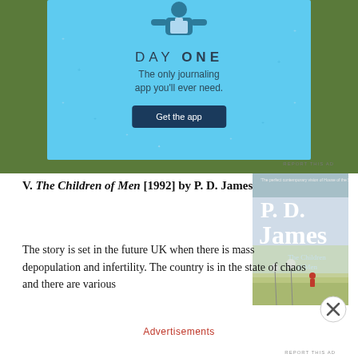[Figure (screenshot): DAY ONE journaling app advertisement banner with blue background, person icon, sparkle decorations, tagline 'The only journaling app you'll ever need.' and a 'Get the app' button.]
REPORT THIS AD
V. The Children of Men [1992] by P. D. James
[Figure (photo): Book cover of 'The Children of Men' by P.D. James, showing the author name in large white text, title below, and a field scene with a child figure in red.]
The story is set in the future UK when there is mass depopulation and infertility. The country is in the state of chaos and there are various
Advertisements
REPORT THIS AD